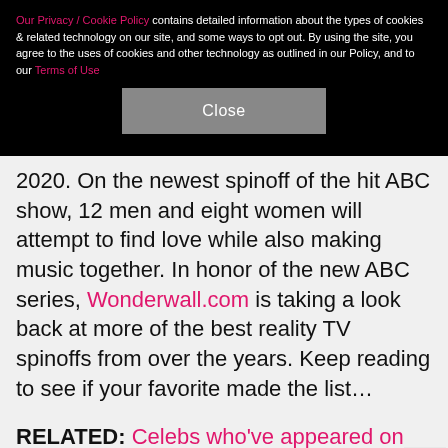Our Privacy / Cookie Policy contains detailed information about the types of cookies & related technology on our site, and some ways to opt out. By using the site, you agree to the uses of cookies and other technology as outlined in our Policy, and to our Terms of Use
Close
2020. On the newest spinoff of the hit ABC show, 12 men and eight women will attempt to find love while also making music together. In honor of the new ABC series, Wonderwall.com is taking a look back at more of the best reality TV spinoffs from over the years. Keep reading to see if your favorite made the list…
RELATED: Celebs who've appeared on multiple reality shows